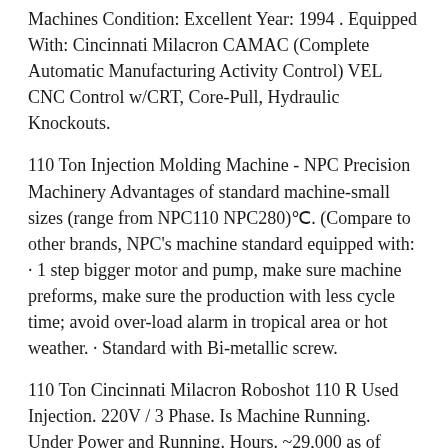Machines Condition: Excellent Year: 1994 . Equipped With: Cincinnati Milacron CAMAC (Complete Automatic Manufacturing Activity Control) VEL CNC Control w/CRT, Core-Pull, Hydraulic Knockouts.
110 Ton Injection Molding Machine - NPC Precision Machinery Advantages of standard machine-small sizes (range from NPC110 NPC280)℃. (Compare to other brands, NPC’s machine standard equipped with: · 1 step bigger motor and pump, make sure machine preforms, make sure the production with less cycle time; avoid over-load alarm in tropical area or hot weather. · Standard with Bi-metallic screw.
110 Ton Cincinnati Milacron Roboshot 110 R Used Injection. 220V / 3 Phase. Is Machine Running. Under Power and Running. Hours. ~29,000 as of 12/2/2020. Description. * PlastiWin Capital Equipment is pleased to offer this Used 110 Ton Cincinnati Milacron Roboshot...